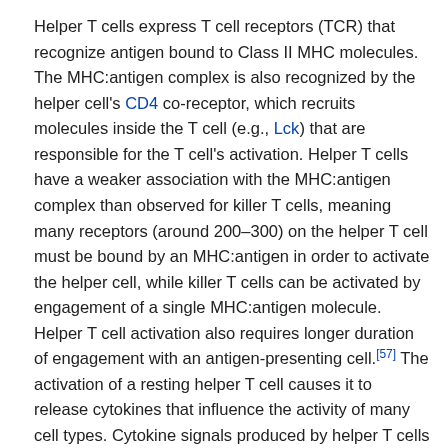Helper T cells express T cell receptors (TCR) that recognize antigen bound to Class II MHC molecules. The MHC:antigen complex is also recognized by the helper cell's CD4 co-receptor, which recruits molecules inside the T cell (e.g., Lck) that are responsible for the T cell's activation. Helper T cells have a weaker association with the MHC:antigen complex than observed for killer T cells, meaning many receptors (around 200–300) on the helper T cell must be bound by an MHC:antigen in order to activate the helper cell, while killer T cells can be activated by engagement of a single MHC:antigen molecule. Helper T cell activation also requires longer duration of engagement with an antigen-presenting cell.[57] The activation of a resting helper T cell causes it to release cytokines that influence the activity of many cell types. Cytokine signals produced by helper T cells enhance the microbicidal function of macrophages and the activity of killer T cells.[14] In addition, helper T cell activation causes an upregulation of molecules expressed on the T cell's surface, such as CD40 ligand (also called CD154), which provide extra stimulatory signals typically required to activate antibody-producing B cells.[58]